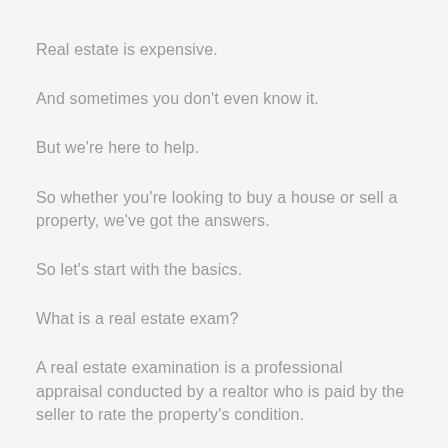Real estate is expensive.
And sometimes you don't even know it.
But we're here to help.
So whether you're looking to buy a house or sell a property, we've got the answers.
So let's start with the basics.
What is a real estate exam?
A real estate examination is a professional appraisal conducted by a realtor who is paid by the seller to rate the property's condition.
To access a free home, you'll need to contact...